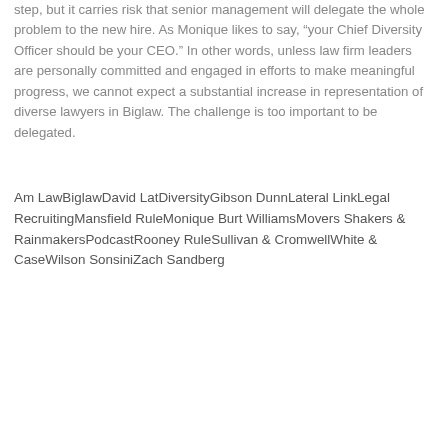step, but it carries risk that senior management will delegate the whole problem to the new hire. As Monique likes to say, “your Chief Diversity Officer should be your CEO.” In other words, unless law firm leaders are personally committed and engaged in efforts to make meaningful progress, we cannot expect a substantial increase in representation of diverse lawyers in Biglaw. The challenge is too important to be delegated.
Am LawBiglawDavid LatDiversityGibson DunnLateral LinkLegal RecruitingMansfield RuleMonique Burt WilliamsMovers Shakers & RainmakersPodcastRooney RuleSullivan & CromwellWhite & CaseWilson SonsiniZach Sandberg